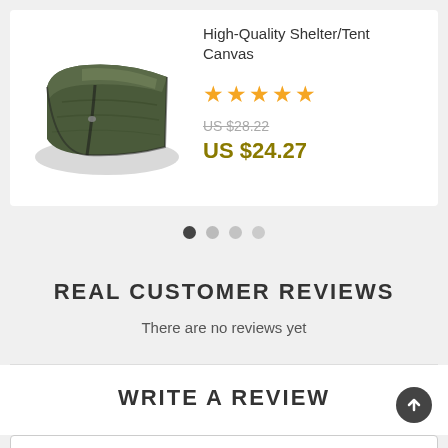High-Quality Shelter/Tent Canvas
[Figure (photo): Photo of a folded dark olive/black tarp or shelter canvas]
★★★★★
US $28.22 (strikethrough) US $24.27
[Figure (other): Carousel navigation dots: 4 dots, first active]
REAL CUSTOMER REVIEWS
There are no reviews yet
WRITE A REVIEW
* Name